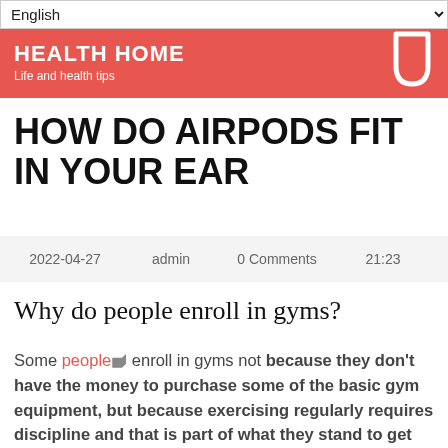English
HEALTH HOME — Life and health tips
HOW DO AIRPODS FIT IN YOUR EAR
2022-04-27   admin   0 Comments   21:23
Why do people enroll in gyms?
Some people 🏷 enroll in gyms not because they don't have the money to purchase some of the basic gym equipment, but because exercising regularly requires discipline and that is part of what they stand to get when they enroll in a gym with an instructor at hand. Starting a gym business in the United States of America is less stressful;